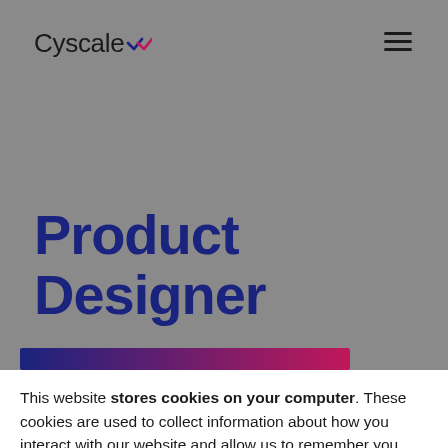Cyscale
Product Designer
[Figure (other): Horizontal gradient bar transitioning from dark blue (#1a237e) on the left to dark red/crimson (#c0185a) on the right]
This website stores cookies on your computer. These cookies are used to collect information about how you interact with our website and allow us to remember you. We